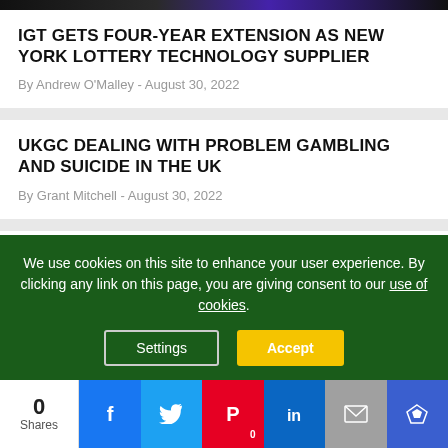[Figure (photo): Top banner image strip, partially visible, dark with purple gradient]
IGT GETS FOUR-YEAR EXTENSION AS NEW YORK LOTTERY TECHNOLOGY SUPPLIER
By Andrew O'Malley - August 30, 2022
UKGC DEALING WITH PROBLEM GAMBLING AND SUICIDE IN THE UK
By Grant Mitchell - August 30, 2022
OPINION: DRAKE, TRAINWRECK
We use cookies on this site to enhance your user experience. By clicking any link on this page, you are giving consent to our use of cookies.
Settings | Accept
0 Shares | Facebook | Twitter | Pinterest 0 | LinkedIn | Email | Crown